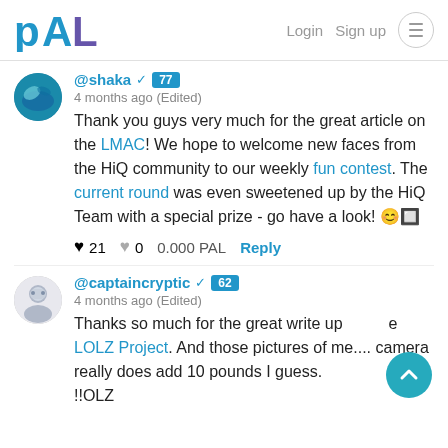PAL  Login  Sign up
@shaka ✓ 77
4 months ago (Edited)
Thank you guys very much for the great article on the LMAC! We hope to welcome new faces from the HiQ community to our weekly fun contest. The current round was even sweetened up by the HiQ Team with a special prize - go have a look! 😊🔲
♥ 21  ♥ 0  0.000 PAL  Reply
@captaincryptic ✓ 62
4 months ago (Edited)
Thanks so much for the great write up and the LOLZ Project. And those pictures of me.... camera really does add 10 pounds I guess. !!OLZ